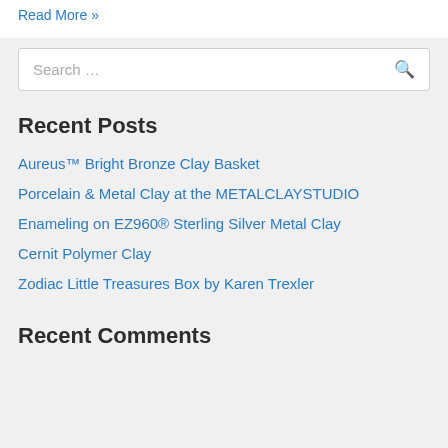Read More »
Search …
Recent Posts
Aureus™ Bright Bronze Clay Basket
Porcelain & Metal Clay at the METALCLAYSTUDIO
Enameling on EZ960® Sterling Silver Metal Clay
Cernit Polymer Clay
Zodiac Little Treasures Box by Karen Trexler
Recent Comments